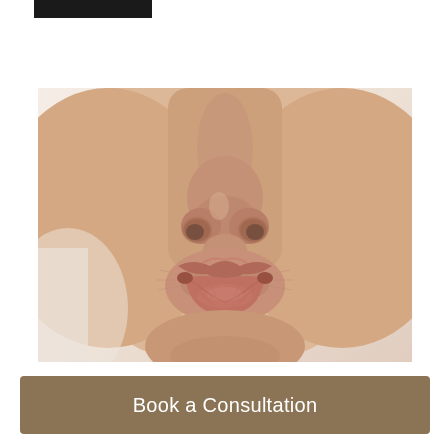[Figure (photo): Close-up photo of a woman's lower face showing nose and lips puckered in a kissing expression, skin tone is fair/light, natural makeup, soft light background]
Book a Consultation